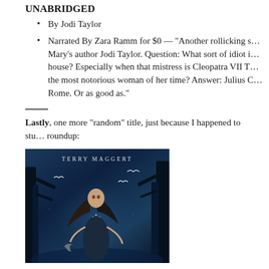UNABRIDGED
By Jodi Taylor
Narrated By Zara Ramm for $0 — “Another rollicking s… Mary’s author Jodi Taylor. Question: What sort of idiot i… house? Especially when that mistress is Cleopatra VII T… the most notorious woman of her time? Answer: Julius C… Rome. Or as good as.”
Lastly, one more “random” title, just because I happened to stu… roundup:
[Figure (photo): Book cover by Terry Maggert featuring a woman in a dark fantasy forest with birds and blue atmospheric lighting]